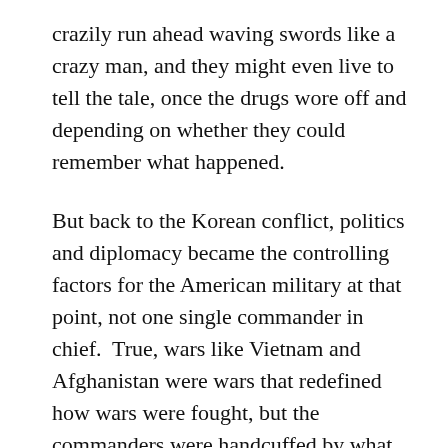crazily run ahead waving swords like a crazy man, and they might even live to tell the tale, once the drugs wore off and depending on whether they could remember what happened.
But back to the Korean conflict, politics and diplomacy became the controlling factors for the American military at that point, not one single commander in chief.  True, wars like Vietnam and Afghanistan were wars that redefined how wars were fought, but the commanders were handcuffed by what they were allowed to do and what line they could not cross.  In 1970, Nixon allowed the military to enter Cambodia to cut off the North Vietnamese supply lines.  When protests over expanding the war to Cambodia got people shot at Kent State, the war